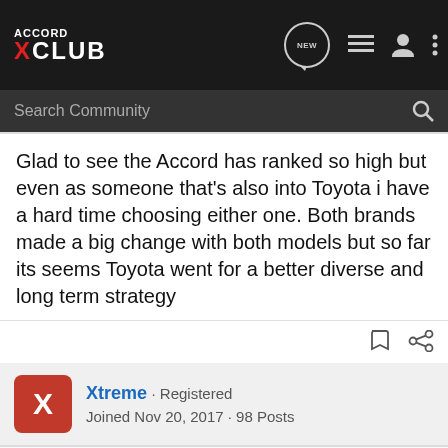ACCORD XCLUB — Search Community
Glad to see the Accord has ranked so high but even as someone that's also into Toyota i have a hard time choosing either one. Both brands made a big change with both models but so far its seems Toyota went for a better diverse and long term strategy
Xtreme · Registered
Joined Nov 20, 2017 · 98 Posts
#14 · Fe...
The Ma...                                                    ed to